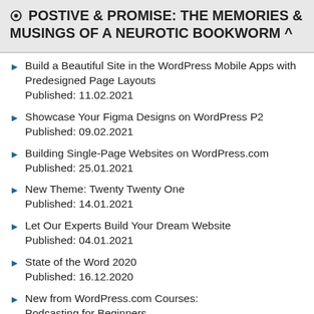POSTIVE & PROMISE: THE MEMORIES & MUSINGS OF A NEUROTIC BOOKWORM ^
Build a Beautiful Site in the WordPress Mobile Apps with Predesigned Page Layouts
Published: 11.02.2021
Showcase Your Figma Designs on WordPress P2
Published: 09.02.2021
Building Single-Page Websites on WordPress.com
Published: 25.01.2021
New Theme: Twenty Twenty One
Published: 14.01.2021
Let Our Experts Build Your Dream Website
Published: 04.01.2021
State of the Word 2020
Published: 16.12.2020
New from WordPress.com Courses: Podcasting for Beginners